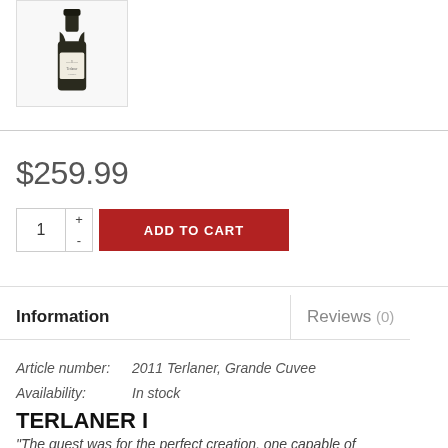[Figure (photo): Wine bottle product image in a bordered box — Terlaner Grande Cuvee bottle with dark glass and label]
$259.99
1 + - ADD TO CART
Information
Reviews (0)
Article number:  2011 Terlaner, Grande Cuvee
Availability:  In stock
TERLANER I
"The quest was for the perfect creation, one capable of